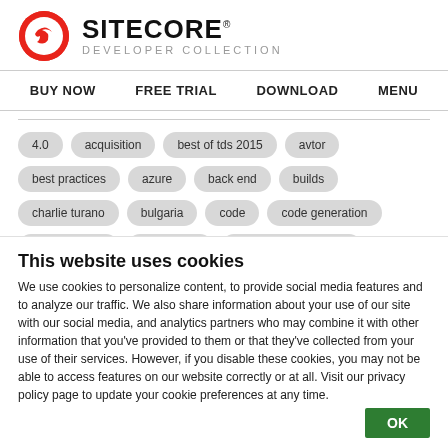[Figure (logo): Sitecore logo: red circle with white bird/swoosh icon, next to bold text SITECORE with superscript registered mark, and subtitle DEVELOPER COLLECTION]
SITECORE® DEVELOPER COLLECTION
BUY NOW
FREE TRIAL
DOWNLOAD
MENU
4.0  acquisition  best of tds 2015  avtor  best practices  azure  back end  builds  charlie turano  bulgaria  code  code generation  content editor  connection  content management
This website uses cookies
We use cookies to personalize content, to provide social media features and to analyze our traffic. We also share information about your use of our site with our social media, and analytics partners who may combine it with other information that you've provided to them or that they've collected from your use of their services. However, if you disable these cookies, you may not be able to access features on our website correctly or at all. Visit our privacy policy page to update your cookie preferences at any time.